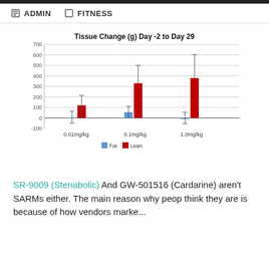ADMIN   FITNESS
[Figure (grouped-bar-chart): Tissue Change (g) Day -2 to Day 29]
SR-9009 (Stenabolic) And GW-501516 (Cardarine) aren't SARMs either. The main reason why people think they are is because of how vendors marke...